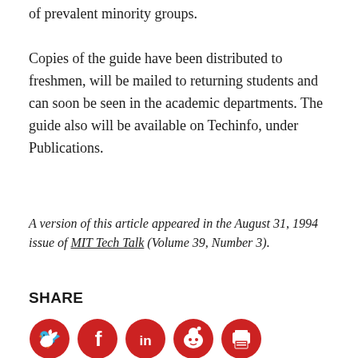of prevalent minority groups.
Copies of the guide have been distributed to freshmen, will be mailed to returning students and can soon be seen in the academic departments. The guide also will be available on Techinfo, under Publications.
A version of this article appeared in the August 31, 1994 issue of MIT Tech Talk (Volume 39, Number 3).
SHARE
[Figure (illustration): Five circular red social sharing icons: Twitter bird, Facebook f, LinkedIn in, Reddit alien, and print/email icon]